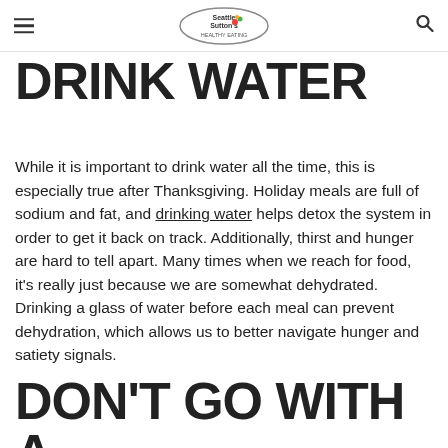Seattle Sutton's Healthy Eating
DRINK WATER
While it is important to drink water all the time, this is especially true after Thanksgiving. Holiday meals are full of sodium and fat, and drinking water helps detox the system in order to get it back on track. Additionally, thirst and hunger are hard to tell apart. Many times when we reach for food, it's really just because we are somewhat dehydrated. Drinking a glass of water before each meal can prevent dehydration, which allows us to better navigate hunger and satiety signals.
DON'T GO WITH A FAD DIET - THEY